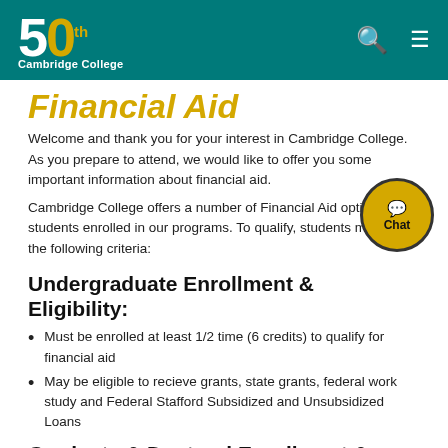Cambridge College – Financial Aid page header with logo, search and menu icons
Financial Aid
Welcome and thank you for your interest in Cambridge College. As you prepare to attend, we would like to offer you some important information about financial aid.
Cambridge College offers a number of Financial Aid options for students enrolled in our programs. To qualify, students must meet the following criteria:
Undergraduate Enrollment & Eligibility:
Must be enrolled at least 1/2 time (6 credits) to qualify for financial aid
May be eligible to recieve grants, state grants, federal work study and Federal Stafford Subsidized and Unsubsidized Loans
Graduate & Doctoral Enrollment &